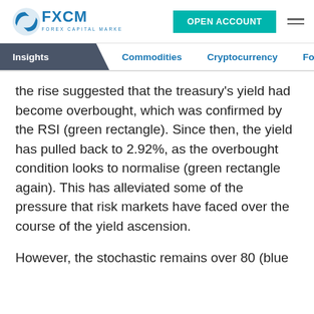FXCM FOREX CAPITAL MARKETS | OPEN ACCOUNT
Insights | Commodities | Cryptocurrency | Forex | Glob
the rise suggested that the treasury's yield had become overbought, which was confirmed by the RSI (green rectangle). Since then, the yield has pulled back to 2.92%, as the overbought condition looks to normalise (green rectangle again). This has alleviated some of the pressure that risk markets have faced over the course of the yield ascension.
However, the stochastic remains over 80 (blue